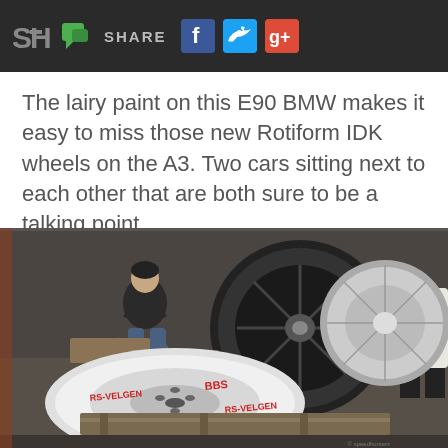SH SHARE [Facebook] [Twitter] [Google+]
The lairy paint on this E90 BMW makes it easy to miss those new Rotiform IDK wheels on the A3. Two cars sitting next to each other that are both sure to be a talking point.
[Figure (photo): Photo of BBS wheels/rims stacked in a garage or workshop. In the foreground is a white BBS RS wheel (facing backward showing the RS-VELGEN BBS markings in red). Behind it are larger black dish wheels, and in the background a man is sitting on a folding chair in a garage setting.]